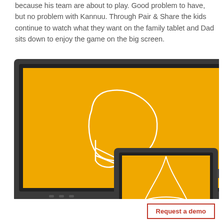because his team are about to play. Good problem to have, but no problem with Kannuu. Through Pair & Share the kids continue to watch what they want on the family tablet and Dad sits down to enjoy the game on the big screen.
[Figure (illustration): A large dark-framed TV screen showing an orange/yellow background with a white outline football helmet icon. Overlapping in front-right is a smaller dark-framed tablet showing an orange/yellow background with a white outline wizard hat icon.]
Request a demo